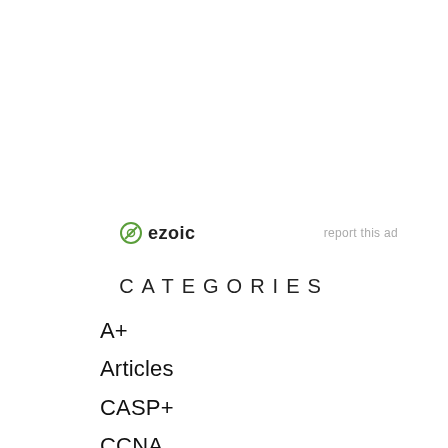[Figure (logo): Ezoic logo with green circle-slash icon and bold 'ezoic' text, with 'report this ad' link to the right]
CATEGORIES
A+
Articles
CASP+
CCNA
CEH
Certifications